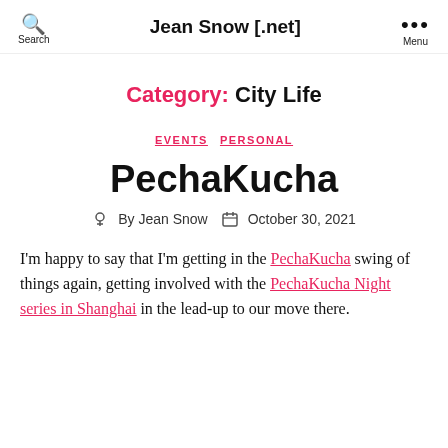Jean Snow [.net]
Category: City Life
EVENTS  PERSONAL
PechaKucha
By Jean Snow  October 30, 2021
I'm happy to say that I'm getting in the PechaKucha swing of things again, getting involved with the PechaKucha Night series in Shanghai in the lead-up to our move there.